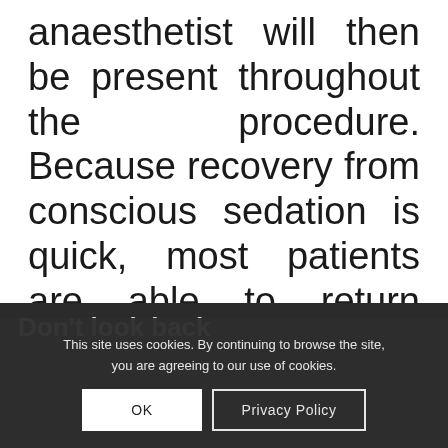anaesthetist will then be present throughout the procedure. Because recovery from conscious sedation is quick, most patients are able to return home soon after the procedure, although we do recommend that a friend or relative accompanies you.
Don't look back
One real advantage of conscious sedation for dental phobic patients is that they often do not remember
This site uses cookies. By continuing to browse the site, you are agreeing to our use of cookies.